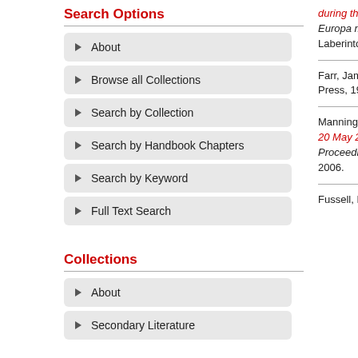during the Gran... Europa modern... Laberinto, 2006...
Search Options
About
Browse all Collections
Search by Collection
Search by Handbook Chapters
Search by Keyword
Full Text Search
Farr, James R. ... Press, 1988.
Manning, Lory, 20 May 2005 in... Proceedings of... 2006.
Collections
About
Secondary Literature
Fussell, Paul. T...